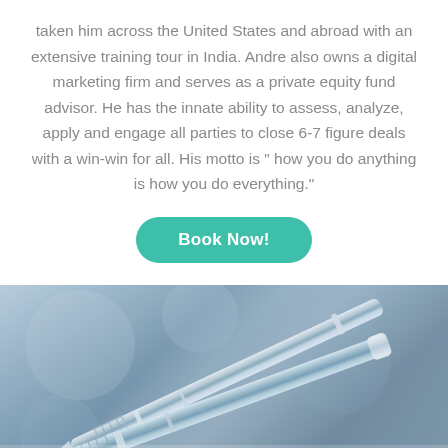taken him across the United States and abroad with an extensive training tour in India. Andre also owns a digital marketing firm and serves as a private equity fund advisor. He has the innate ability to assess, analyze, apply and engage all parties to close 6-7 figure deals with a win-win for all. His motto is " how you do anything is how you do everything."
Book Now!
[Figure (photo): Close-up photo of luxury silver pens resting on paper, with a blurred bokeh background in blue and grey tones.]
FOR THE LATEST NEWS & INFORMATION